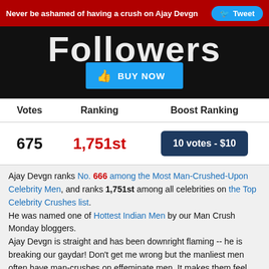Never be ashamed of having a crush on Ajay Devgn  Tweet
[Figure (screenshot): Dark background image showing partial word 'Followers' in large white text, with a blue 'BUY NOW' button with thumbs-up icon]
| Votes | Ranking | Boost Ranking |
| --- | --- | --- |
| 675 | 1,751st | 10 votes - $10 |
Ajay Devgn ranks No. 666 among the Most Man-Crushed-Upon Celebrity Men, and ranks 1,751st among all celebrities on the Top Celebrity Crushes list. He was named one of Hottest Indian Men by our Man Crush Monday bloggers. Ajay Devgn is straight and has been downright flaming -- he is breaking our gaydar! Don't get me wrong but the manliest men often have man-crushes on effeminate men. It makes them feel even more manly. He has black hair. Scroll down and check out his athletic body, short and/or medium black hairstyles & haircuts.
2 Ways to Vote him Up!